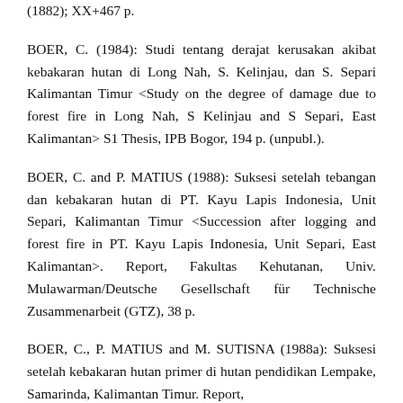(1882); XX+467 p.
BOER, C. (1984): Studi tentang derajat kerusakan akibat kebakaran hutan di Long Nah, S. Kelinjau, dan S. Separi Kalimantan Timur <Study on the degree of damage due to forest fire in Long Nah, S Kelinjau and S Separi, East Kalimantan> S1 Thesis, IPB Bogor, 194 p. (unpubl.).
BOER, C. and P. MATIUS (1988): Suksesi setelah tebangan dan kebakaran hutan di PT. Kayu Lapis Indonesia, Unit Separi, Kalimantan Timur <Succession after logging and forest fire in PT. Kayu Lapis Indonesia, Unit Separi, East Kalimantan>. Report, Fakultas Kehutanan, Univ. Mulawarman/Deutsche Gesellschaft für Technische Zusammenarbeit (GTZ), 38 p.
BOER, C., P. MATIUS and M. SUTISNA (1988a): Suksesi setelah kebakaran hutan primer di hutan pendidikan Lempake, Samarinda, Kalimantan Timur. Report,